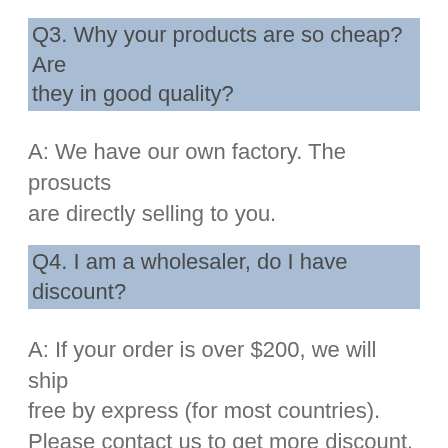Q3. Why your products are so cheap? Are they in good quality?
A: We have our own factory. The prosucts are directly selling to you.
Q4. I am a wholesaler, do I have discount?
A: If your order is over $200, we will ship free by express (for most countries). Please contact us to get more discount.
Q5. What can I get if I became our VIP?
A: You can get one free new product every